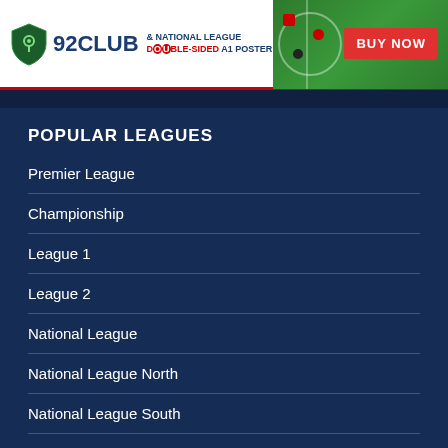[Figure (logo): 92Club and National League Double-Sided A1 Poster advertisement banner with BUY NOW button]
POPULAR LEAGUES
Premier League
Championship
League 1
League 2
National League
National League North
National League South
Nearest Football Grounds